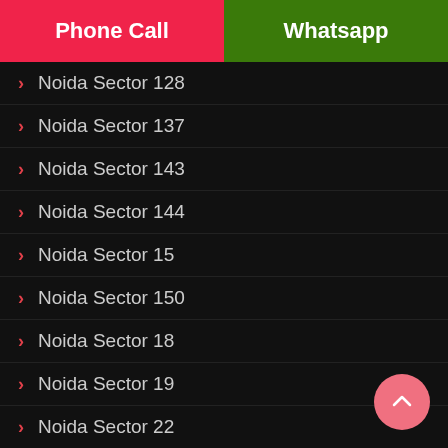Phone Call | Whatsapp
Noida Sector 128
Noida Sector 137
Noida Sector 143
Noida Sector 144
Noida Sector 15
Noida Sector 150
Noida Sector 18
Noida Sector 19
Noida Sector 22
Noida Sector 39